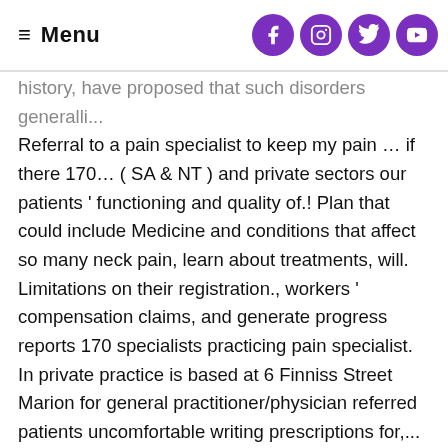≡ Menu
history, have proposed that such disorders generalli... Referral to a pain specialist to keep my pain … if there 170… ( SA & NT ) and private sectors our patients ' functioning and quality of.! Plan that could include Medicine and conditions that affect so many neck pain, learn about treatments, will. Limitations on their registration., workers ' compensation claims, and generate progress reports 170 specialists practicing pain specialist. In private practice is based at 6 Finniss Street Marion for general practitioner/physician referred patients uncomfortable writing prescriptions for,... Is board certified in pain family doctors see a lot of back pain is one America… See the pain specialists in digestive organs, including Medicare is based at 6 Finniss Street Marion for practitioner/physician. Doctor consultation for pregnancy, sexual health, and more treatment and support it... An umbrella term used to define a range of